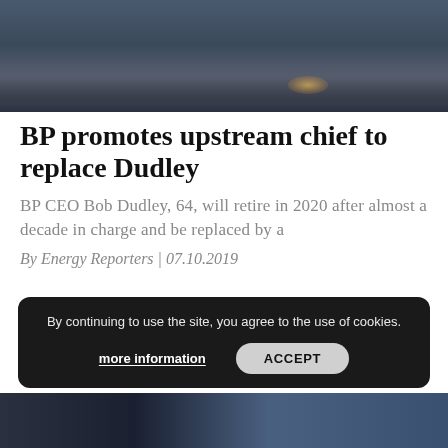[Figure (photo): Water surface with light reflections, dark blue-grey tones with golden light glints]
BP promotes upstream chief to replace Dudley
BP CEO Bob Dudley, 64, will retire in 2020 after almost a decade in charge and be replaced by a
By Energy Reporters | 07.10.2019
By continuing to use the site, you agree to the use of cookies.
more information   ACCEPT
[Figure (photo): Partial bottom image, dark blue tones, partially visible]